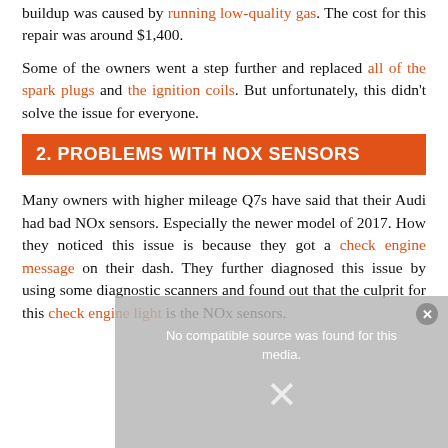buildup was caused by running low-quality gas. The cost for this repair was around $1,400.
Some of the owners went a step further and replaced all of the spark plugs and the ignition coils. But unfortunately, this didn't solve the issue for everyone.
2. PROBLEMS WITH NOX SENSORS
Many owners with higher mileage Q7s have said that their Audi had bad NOx sensors. Especially the newer model of 2017. How they noticed this issue is because they got a check engine message on their dash. They further diagnosed this issue by using some diagnostic scanners and found out that the culprit for this check engine light is the NOx sensors.
[Figure (screenshot): Video player overlay showing 'No compatible source was found for this media.' message with close button and play/dismiss X icon, over a dark background image with partial yellow text banner.]